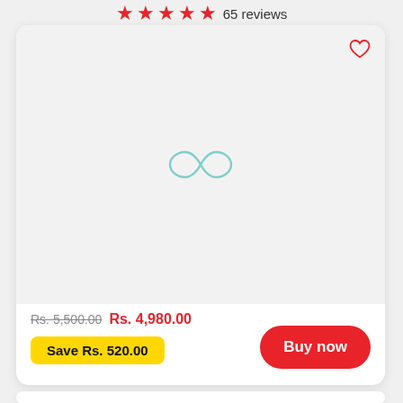★★★★★ 65 reviews
[Figure (screenshot): Product image placeholder with light gray background and a teal infinity/loading symbol icon in the center. A red heart outline icon is in the top-right corner.]
Rs. 5,500.00  Rs. 4,980.00
Save Rs. 520.00
Buy now